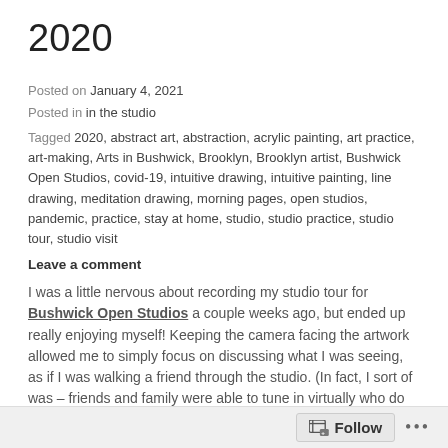2020
Posted on January 4, 2021
Posted in in the studio
Tagged 2020, abstract art, abstraction, acrylic painting, art practice, art-making, Arts in Bushwick, Brooklyn, Brooklyn artist, Bushwick Open Studios, covid-19, intuitive drawing, intuitive painting, line drawing, meditation drawing, morning pages, open studios, pandemic, practice, stay at home, studio, studio practice, studio tour, studio visit
Leave a comment
I was a little nervous about recording my studio tour for Bushwick Open Studios a couple weeks ago, but ended up really enjoying myself! Keeping the camera facing the artwork allowed me to simply focus on discussing what I was seeing, as if I was walking a friend through the studio. (In fact, I sort of was – friends and family were able to tune in virtually who do not live in NYC and wouldn't have been able to attend an in-person event.)
This studio tour touches upon several key elements of my creative practice for the past year or so: intuitive composition, focus on repeated and overlapping patterns, and daily writing practice. This conversational way of moving through the studio felt helpful because it allowed me to point out connections between different processes as they arose; similar
Follow ...